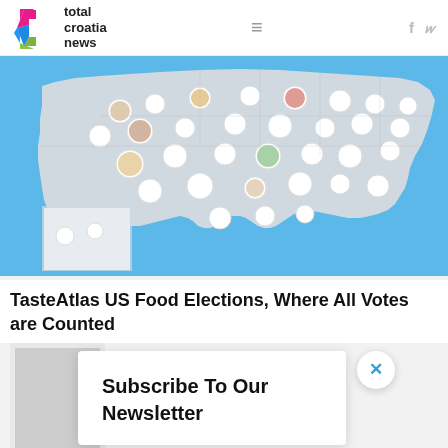total croatia news
[Figure (map): TasteAtlas food map of the United States showing regional dishes as circular food photos placed on a stylized map with blue ocean background]
TasteAtlas US Food Elections, Where All Votes are Counted
Subscribe To Our Newsletter